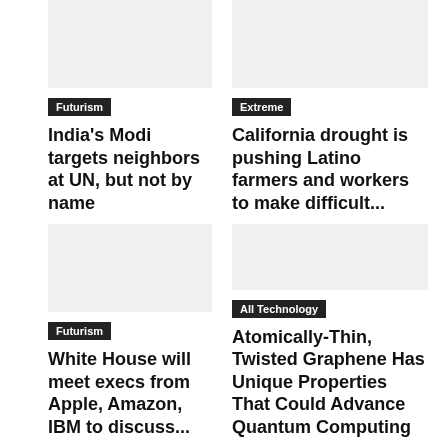[Figure (photo): News article image placeholder (top-left)]
Futurism
India's Modi targets neighbors at UN, but not by name
[Figure (photo): News article image placeholder (top-right)]
Extreme
California drought is pushing Latino farmers and workers to make difficult...
[Figure (photo): News article image placeholder (bottom-left)]
Futurism
White House will meet execs from Apple, Amazon, IBM to discuss...
[Figure (photo): News article image placeholder (bottom-right)]
All Technology
Atomically-Thin, Twisted Graphene Has Unique Properties That Could Advance Quantum Computing